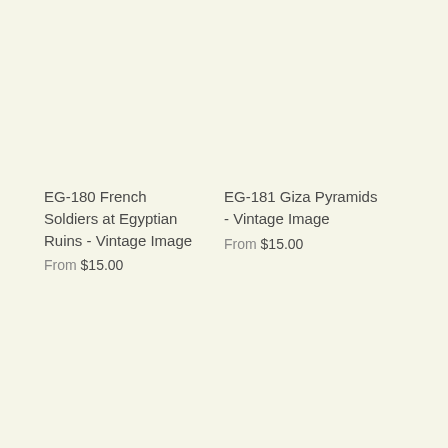EG-180 French Soldiers at Egyptian Ruins - Vintage Image
From $15.00
EG-181 Giza Pyramids - Vintage Image
From $15.00